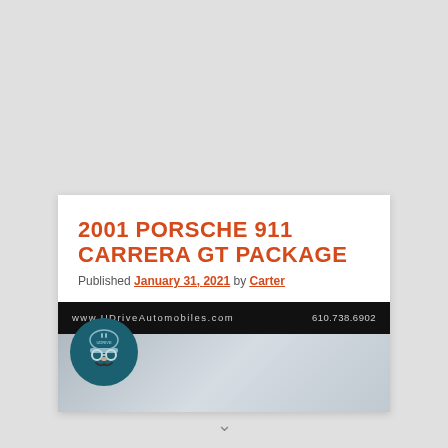2001 PORSCHE 911 CARRERA GT PACKAGE
Published January 31, 2021 by Carter
[Figure (logo): UDrive Automobiles banner with logo (helmeted figure with goggles and mustache), website www.UDriveAutomobiles.com and phone 610.738.6902]